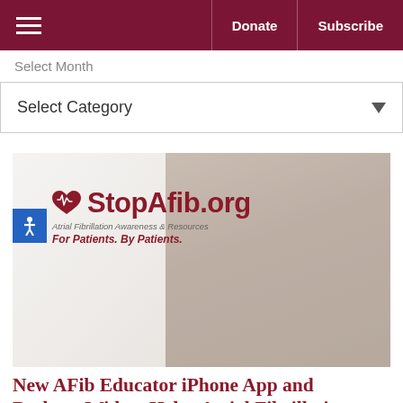Donate  Subscribe
Select Month
Select Category
[Figure (photo): StopAfib.org banner showing logo with heart/EKG icon, tagline 'Atrial Fibrillation Awareness & Resources For Patients. By Patients.' and a couple (African American man and woman) embracing and smiling. Accessibility icon visible on left edge.]
New AFib Educator iPhone App and Desktop Widget Helps Atrial Fibrillation